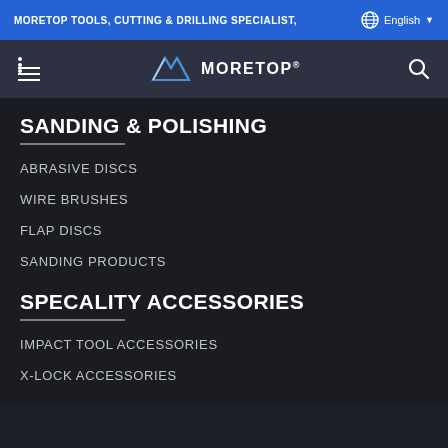MORETOP TOOLS, CUTTING & DRILLING SPECIALIST,
[Figure (logo): MORETOP logo with stylized M chevron mark and company name]
SANDING & POLISHING
ABRASIVE DISCS
WIRE BRUSHES
FLAP DISCS
SANDING PRODUCTS
SPECALITY ACCESSORIES
IMPACT TOOL ACCESSORIES
X-LOCK ACCESSORIES